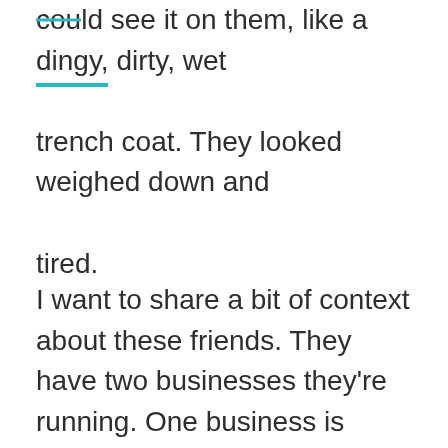could see it on them, like a dingy, dirty, wet trench coat. They looked weighed down and tired.
I want to share a bit of context about these friends. They have two businesses they're running. One business is established, is a well-oiled machine, and is profitable, but takes multiple hours every day to keep going. Their second business is a brand new business that they've been working on for months, but is just starting to see the